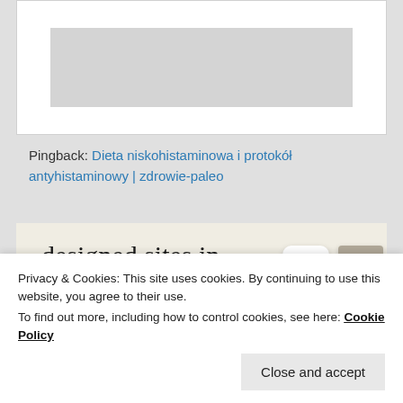[Figure (screenshot): Top portion of a web page showing a gray image placeholder with white border on gray background]
Pingback: Dieta niskohistaminowa i protokół antyhistaminowy | zdrowie-paleo
[Figure (screenshot): Advertisement banner with beige/cream background showing text 'designed sites in less than a week' with a green 'Explore options' button and mockup images of website designs on the right side]
Privacy & Cookies: This site uses cookies. By continuing to use this website, you agree to their use.
To find out more, including how to control cookies, see here: Cookie Policy
Close and accept